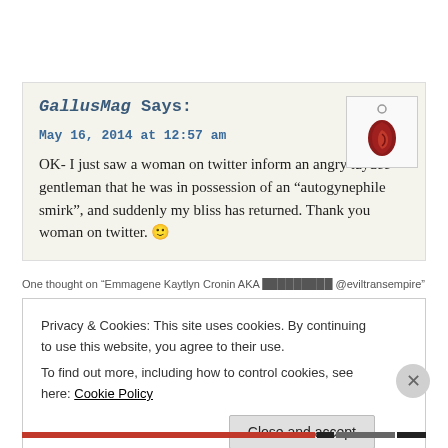GallusMag Says:
May 16, 2014 at 12:57 am
OK- I just saw a woman on twitter inform an angry laydee gentleman that he was in possession of an “autogynephile smirk”, and suddenly my bliss has returned. Thank you woman on twitter. 🙂
One thought on “Emmagene Kaytlyn Cronin AKA █████████ @eviltransempire”
Privacy & Cookies: This site uses cookies. By continuing to use this website, you agree to their use.
To find out more, including how to control cookies, see here: Cookie Policy
Close and accept